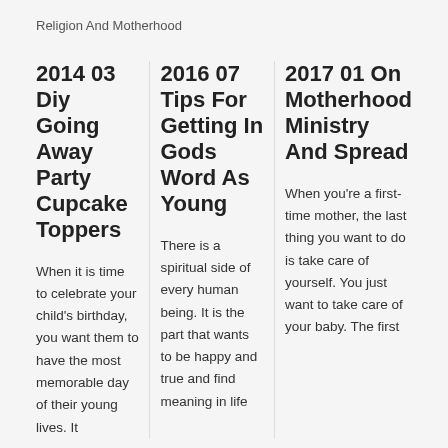Religion And Motherhood
2014 03 Diy Going Away Party Cupcake Toppers
When it is time to celebrate your child's birthday, you want them to have the most memorable day of their young lives. It
2016 07 Tips For Getting In Gods Word As Young
There is a spiritual side of every human being. It is the part that wants to be happy and true and find meaning in life
2017 01 On Motherhood Ministry And Spread
When you're a first-time mother, the last thing you want to do is take care of yourself. You just want to take care of your baby. The first